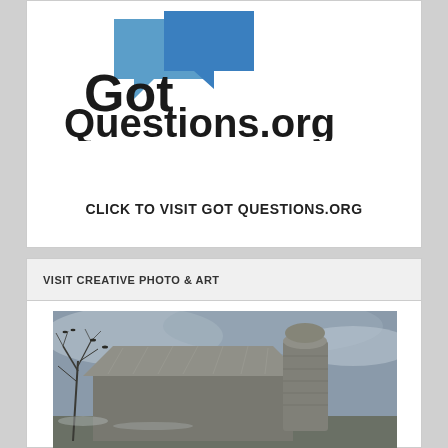[Figure (logo): GotQuestions.org logo with blue speech bubble icons and bold black text]
CLICK TO VISIT GOT QUESTIONS.ORG
VISIT CREATIVE PHOTO & ART
[Figure (photo): Black and white photograph of a weathered old barn with a silo and bare tree branches against an overcast sky]